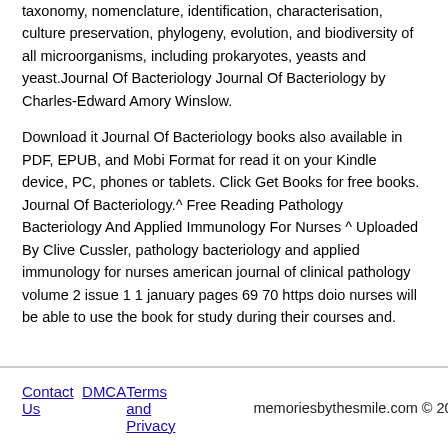taxonomy, nomenclature, identification, characterisation, culture preservation, phylogeny, evolution, and biodiversity of all microorganisms, including prokaryotes, yeasts and yeast.Journal Of Bacteriology Journal Of Bacteriology by Charles-Edward Amory Winslow.
Download it Journal Of Bacteriology books also available in PDF, EPUB, and Mobi Format for read it on your Kindle device, PC, phones or tablets. Click Get Books for free books. Journal Of Bacteriology.^ Free Reading Pathology Bacteriology And Applied Immunology For Nurses ^ Uploaded By Clive Cussler, pathology bacteriology and applied immunology for nurses american journal of clinical pathology volume 2 issue 1 1 january pages 69 70 https doio nurses will be able to use the book for study during their courses and.
Contact Us  DMCA  Terms and Privacy    memoriesbythesmile.com © 2020